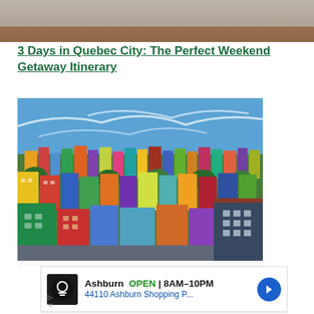[Figure (photo): Cropped top portion of an outdoor photo, appears to be a landscape or architectural scene with warm brown tones]
3 Days in Quebec City: The Perfect Weekend Getaway Itinerary
[Figure (photo): Aerial view of a colorful hillside city neighborhood with densely packed multi-colored houses and buildings under a blue sky with wispy clouds]
Ad banner: Ashburn OPEN 8AM-10PM 44110 Ashburn Shopping P...